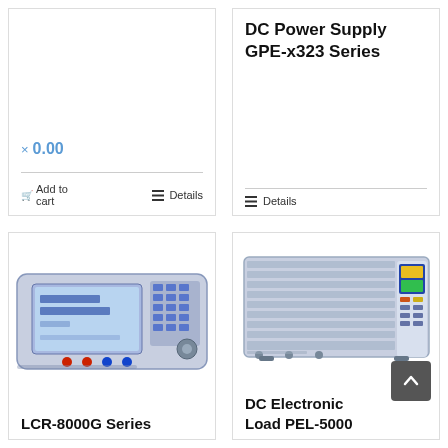× 0.00
Add to cart
Details
DC Power Supply GPE-x323 Series
Details
[Figure (photo): LCR-8000G Series LCR meter instrument, a bench-top device with a large LCD display showing impedance measurements (0.0000 pF, 0.26006 Ω), numeric keypad, and measurement terminals.]
LCR-8000G Series
[Figure (photo): DC Electronic Load PEL-5000 series, a rack-mount style instrument with ribbed metal chassis, colorful LCD display panel on the right side, and multiple front-panel connectors.]
DC Electronic Load PEL-5000